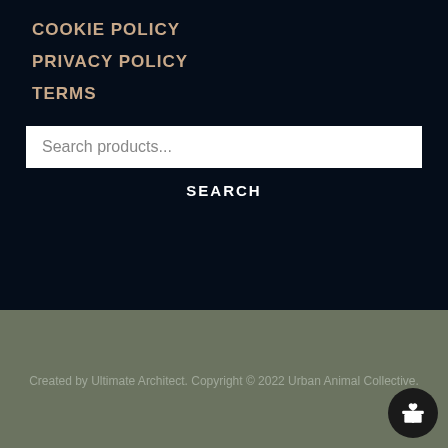COOKIE POLICY
PRIVACY POLICY
TERMS
Search products...
SEARCH
Created by Ultimate Architect. Copyright © 2022 Urban Animal Collective.